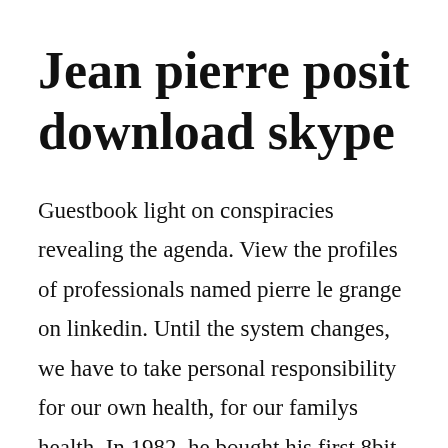Jean pierre posit download skype
Guestbook light on conspiracies revealing the agenda. View the profiles of professionals named pierre le grange on linkedin. Until the system changes, we have to take personal responsibility for our own health, for our familys health. In 1982, he bought his first 8bit cpu which he programmed in binary, by